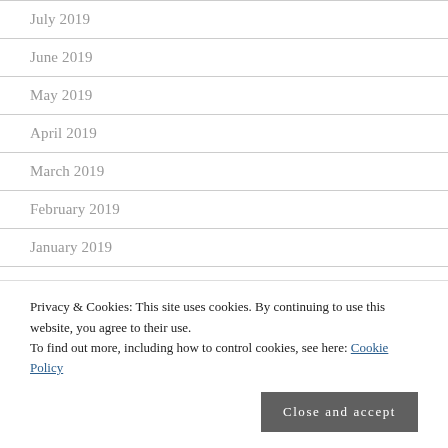July 2019
June 2019
May 2019
April 2019
March 2019
February 2019
January 2019
December 2018
Privacy & Cookies: This site uses cookies. By continuing to use this website, you agree to their use.
To find out more, including how to control cookies, see here: Cookie Policy
Close and accept
August 2018